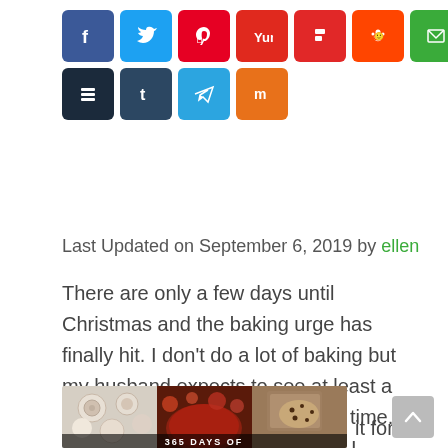[Figure (infographic): Social media sharing buttons: Facebook (blue), Twitter (light blue), Pinterest (red), Yummly (red-orange), Flipboard (red), Reddit (orange), Email (green), Print (gray), Buffer (dark), Tumblr (dark blue), Telegram (blue), Mix (orange)]
Last Updated on September 6, 2019 by ellen
There are only a few days until Christmas and the baking urge has finally hit. I don't do a lot of baking but my husband expects to see at least a few dozen cookies at Christmas time. While we have our old favorites, I always like to try a few new cookie recipes too. Thank you to the author for sponsoring this post and providing a copy of it for review.
[Figure (photo): Book cover collage showing '365 DAYS OF' cookies with images of various Christmas cookies]
[Figure (other): Scroll-to-top button (gray rounded square with up arrow)]